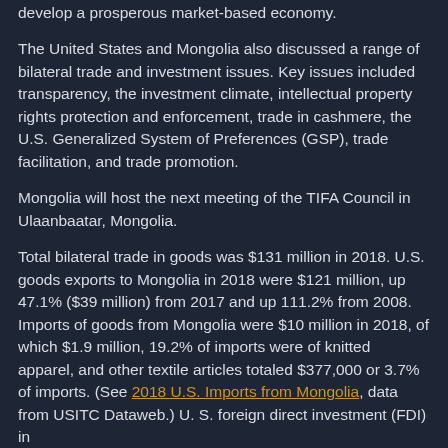develop a prosperous market-based economy.
The United States and Mongolia also discussed a range of bilateral trade and investment issues. Key issues included transparency, the investment climate, intellectual property rights protection and enforcement, trade in cashmere, the U.S. Generalized System of Preferences (GSP), trade facilitation, and trade promotion.
Mongolia will host the next meeting of the TIFA Council in Ulaanbaatar, Mongolia.
Total bilateral trade in goods was $131 million in 2018. U.S. goods exports to Mongolia in 2018 were $121 million, up 47.1% ($39 million) from 2017 and up 111.2% from 2008. Imports of goods from Mongolia were $10 million in 2018, of which $1.9 million, 19.2% of imports were of knitted apparel, and other textile articles totaled $377,000 or 3.7% of imports. (See 2018 U.S. Imports from Mongolia, data from USITC Dataweb.) U. S. foreign direct investment (FDI) in